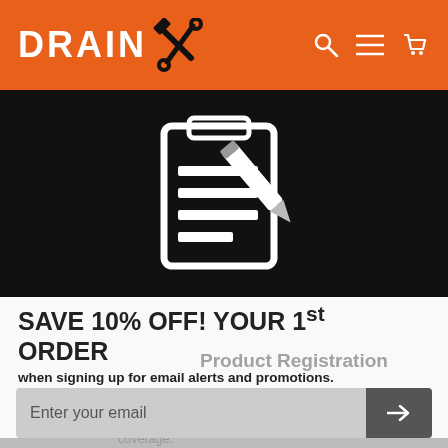DRAIN X  [logo with tools icon, search, menu, cart icons]
[Figure (illustration): Black background banner with a white outline icon of a clipboard/form with a pencil/checkmark writing on it — a product registration form icon]
SAVE 10% OFF! YOUR 1st ORDER
Product Registration
Register your product to receive the maximum coverage.
when signing up for email alerts and promotions. Use Code FIRST10 to save 10% off after signing up!
Enter your email